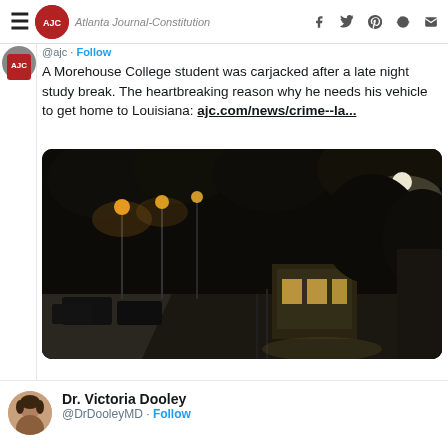Atlanta Journal-Constitution — social share icons (Facebook, Twitter, Pinterest, Reddit, Email)
@ajc · Follow
A Morehouse College student was carjacked after a late night study break. The heartbreaking reason why he needs his vehicle to get home to Louisiana: ajc.com/news/crime--la...
[Figure (photo): Nighttime street scene with streetlights illuminating a road, parked cars on the left side, and a small lit building/guard post on the right. Dark sky and trees visible in the background.]
Dr. Victoria Dooley
@DrDooleyMD · Follow